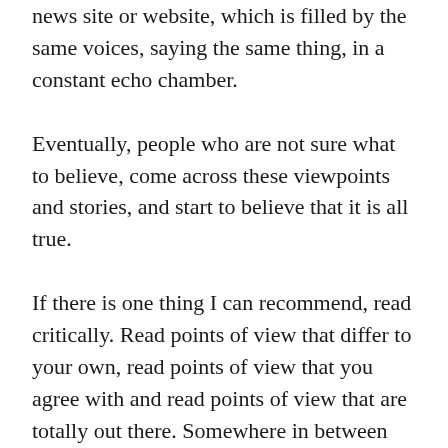news site or website, which is filled by the same voices, saying the same thing, in a constant echo chamber.
Eventually, people who are not sure what to believe, come across these viewpoints and stories, and start to believe that it is all true.
If there is one thing I can recommend, read critically. Read points of view that differ to your own, read points of view that you agree with and read points of view that are totally out there. Somewhere in between the lines of what you expose yourself to, there